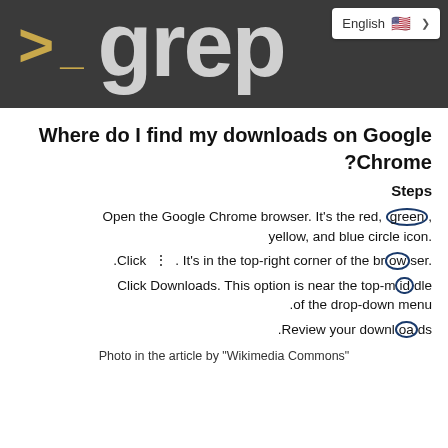[Figure (screenshot): Dark terminal-style header banner showing '>_ grep' text in large white/gold characters]
Where do I find my downloads on Google Chrome?
Steps
Open the Google Chrome browser. It's the red, green, yellow, and blue circle icon.
Click ⠿. It's in the top-right corner of the browser.
Click Downloads. This option is near the top-middle of the drop-down menu.
Review your downloads.
Photo in the article by "Wikimedia Commons"